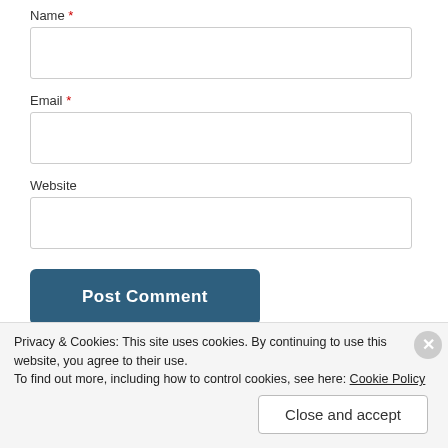Name *
[Figure (screenshot): Empty text input field for Name]
Email *
[Figure (screenshot): Empty text input field for Email]
Website
[Figure (screenshot): Empty text input field for Website]
Post Comment
Privacy & Cookies: This site uses cookies. By continuing to use this website, you agree to their use. To find out more, including how to control cookies, see here: Cookie Policy
Close and accept